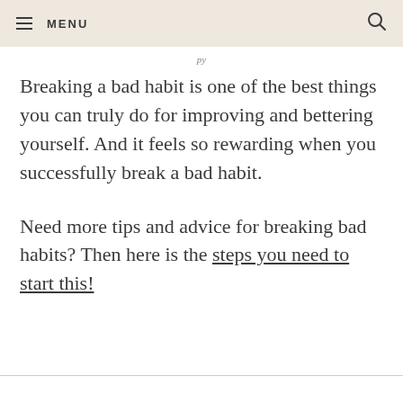MENU
Breaking a bad habit is one of the best things you can truly do for improving and bettering yourself. And it feels so rewarding when you successfully break a bad habit.
Need more tips and advice for breaking bad habits? Then here is the steps you need to start this!